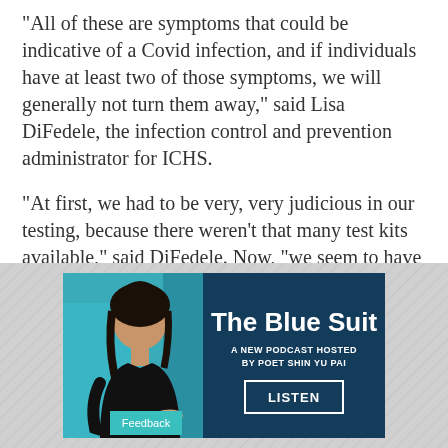"All of these are symptoms that could be indicative of a Covid infection, and if individuals have at least two of those symptoms, we will generally not turn them away," said Lisa DiFedele, the infection control and prevention administrator for ICHS.
"At first, we had to be very, very judicious in our testing, because there weren't that many test kits available," said DiFedele. Now, "we seem to have ample supplies, so we're able to test more widely."
[Figure (illustration): Advertisement for 'The Blue Suit' podcast - A new podcast hosted by poet Shin Yu Pai. Shows a woman against a teal/dark blue background with a LISTEN button and Feedback tab.]